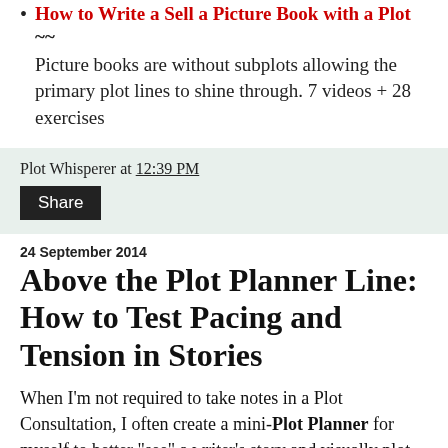How to Write a Sell a Picture Book with a Plot ~~ Picture books are without subplots allowing the primary plot lines to shine through. 7 videos + 28 exercises
Plot Whisperer at 12:39 PM
Share
24 September 2014
Above the Plot Planner Line: How to Test Pacing and Tension in Stories
When I'm not required to take notes in a Plot Consultation, I often create a mini-Plot Planner for myself to better "see" a writer's story and visually plot and follow along as she recounts scenes.
[Figure (other): Plotline form diagram showing 'Above the Line: Scenes That Show' with bullet points for Power in somewhere other than with protagonist, Tension, Conflict, Complications, and a CLIMAX marker with a figure icon on the right side]